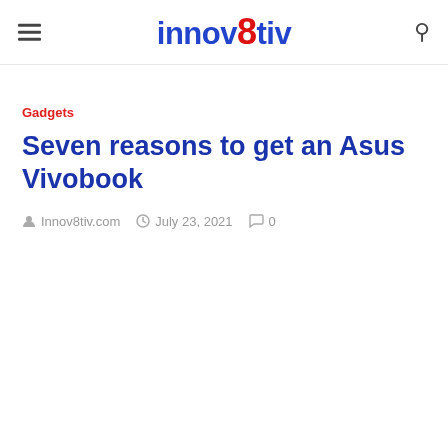innov8tiv
Gadgets
Seven reasons to get an Asus Vivobook
Innov8tiv.com   July 23, 2021   0